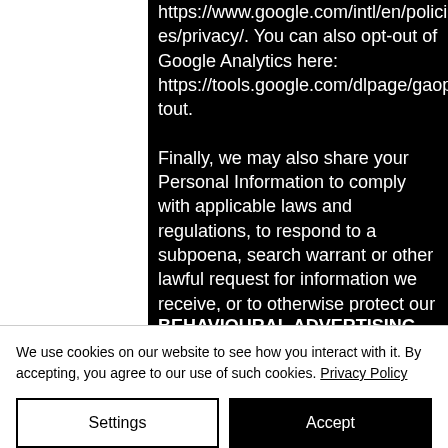https://www.google.com/intl/en/policies/privacy/. You can also opt-out of Google Analytics here: https://tools.google.com/dlpage/gaoptout. Finally, we may also share your Personal Information to comply with applicable laws and regulations, to respond to a subpoena, search warrant or other lawful request for information we receive, or to otherwise protect our rights.
BEHAVIOURAL ADVERTISING
We use cookies on our website to see how you interact with it. By accepting, you agree to our use of such cookies. Privacy Policy